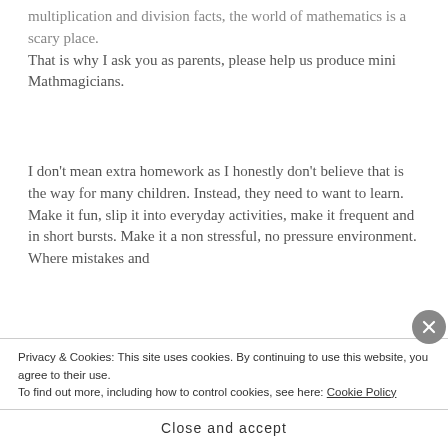multiplication and division facts, the world of mathematics is a scary place.
That is why I ask you as parents, please help us produce mini Mathmagicians.
I don't mean extra homework as I honestly don't believe that is the way for many children. Instead, they need to want to learn. Make it fun, slip it into everyday activities, make it frequent and in short bursts. Make it a non stressful, no pressure environment. Where mistakes and
Privacy & Cookies: This site uses cookies. By continuing to use this website, you agree to their use.
To find out more, including how to control cookies, see here: Cookie Policy
Close and accept